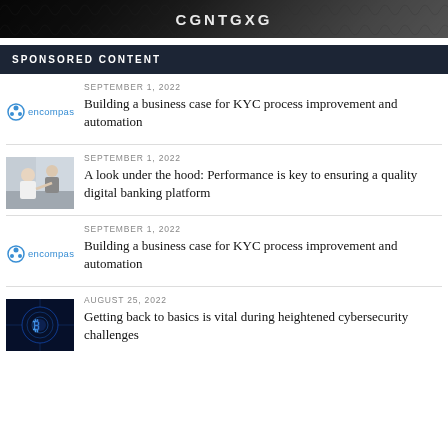[Figure (illustration): Dark banner with swirling pattern and white text 'CGNTGXG' or similar brand logo at top]
SPONSORED CONTENT
SEPTEMBER 1, 2022
[Figure (logo): Encompass logo - blue icon with company name]
Building a business case for KYC process improvement and automation
SEPTEMBER 1, 2022
[Figure (photo): Two people in office, one pointing at something, professional business setting]
A look under the hood: Performance is key to ensuring a quality digital banking platform
SEPTEMBER 1, 2022
[Figure (logo): Encompass logo - blue icon with company name]
Building a business case for KYC process improvement and automation
AUGUST 25, 2022
[Figure (photo): Dark cybersecurity themed image with blue glowing Bitcoin/crypto symbol]
Getting back to basics is vital during heightened cybersecurity challenges